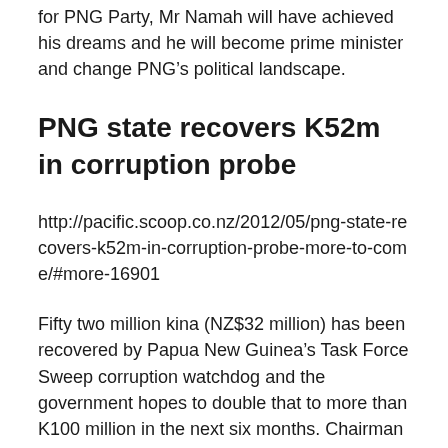for PNG Party, Mr Namah will have achieved his dreams and he will become prime minister and change PNG's political landscape.
PNG state recovers K52m in corruption probe
http://pacific.scoop.co.nz/2012/05/png-state-recovers-k52m-in-corruption-probe-more-to-come/#more-16901
Fifty two million kina (NZ$32 million) has been recovered by Papua New Guinea's Task Force Sweep corruption watchdog and the government hopes to double that to more than K100 million in the next six months. Chairman Sam Koim reported this to Prime Minister Peter O'Neill when winding up TFS operations investigating alleged